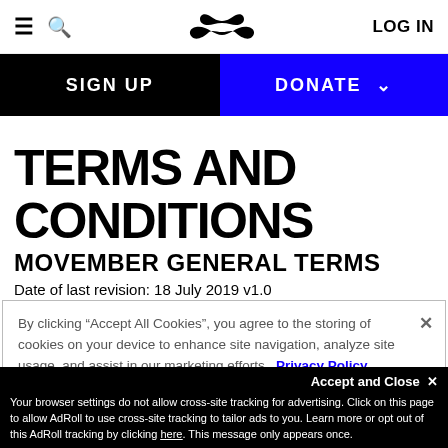≡  🔍  [mustache logo]  LOG IN
SIGN UP | DONATE ∨
TERMS AND CONDITIONS
MOVEMBER GENERAL TERMS
Date of last revision: 18 July 2019 v1.0
By clicking "Accept All Cookies", you agree to the storing of cookies on your device to enhance site navigation, analyze site usage, and assist in our marketing efforts. Privacy Policy
Your browser settings do not allow cross-site tracking for advertising. Click on this page to allow AdRoll to use cross-site tracking to tailor ads to you. Learn more or opt out of this AdRoll tracking by clicking here. This message only appears once.